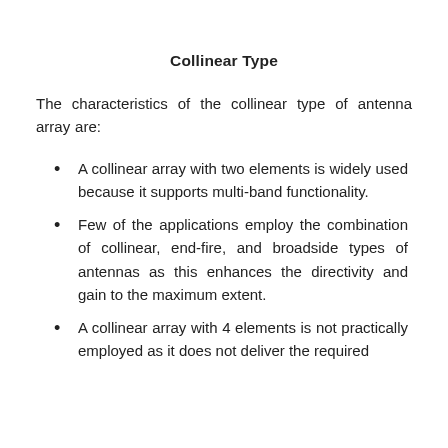Collinear Type
The characteristics of the collinear type of antenna array are:
A collinear array with two elements is widely used because it supports multi-band functionality.
Few of the applications employ the combination of collinear, end-fire, and broadside types of antennas as this enhances the directivity and gain to the maximum extent.
A collinear array with 4 elements is not practically employed as it does not deliver the required